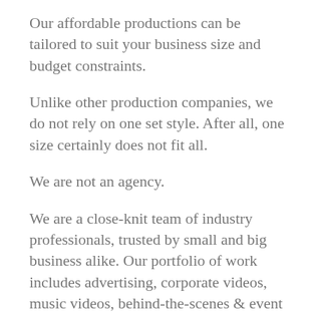Our affordable productions can be tailored to suit your business size and budget constraints.
Unlike other production companies, we do not rely on one set style. After all, one size certainly does not fit all.
We are not an agency.
We are a close-knit team of industry professionals, trusted by small and big business alike. Our portfolio of work includes advertising, corporate videos, music videos, behind-the-scenes & event coverage. We settle for nothing but the best for our clients.
We enjoy long-term and ongoing partnerships with our clients. Why? It’s all to do with the trust